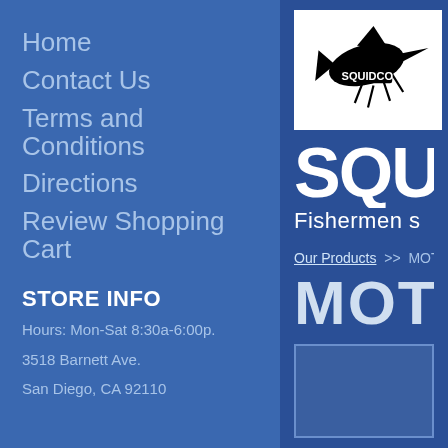Home
Contact Us
Terms and Conditions
Directions
Review Shopping Cart
STORE INFO
Hours: Mon-Sat 8:30a-6:00p.
3518 Barnett Ave.
San Diego, CA 92110
[Figure (logo): Squidco logo — stylized squid/marlin illustration in black and white with 'SQUIDCO' text]
SQUI
Fishermen s
Our Products >> MOT
MOTION